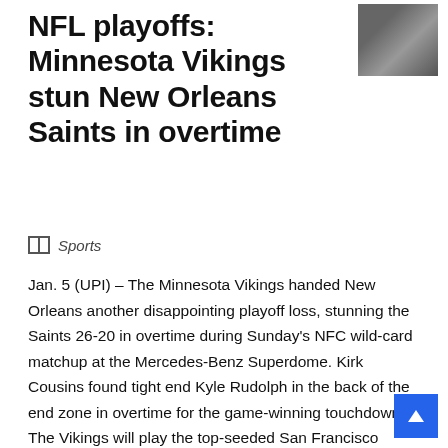NFL playoffs: Minnesota Vikings stun New Orleans Saints in overtime
[Figure (photo): Thumbnail photo, partially visible, dark tones]
Sports
Jan. 5 (UPI) – The Minnesota Vikings handed New Orleans another disappointing playoff loss, stunning the Saints 26-20 in overtime during Sunday's NFC wild-card matchup at the Mercedes-Benz Superdome. Kirk Cousins found tight end Kyle Rudolph in the back of the end zone in overtime for the game-winning touchdown. The Vikings will play the top-seeded San Francisco 49ers on Saturday in the divisional round. It marked the second consecutive time the Saints' season ended in overtime in the Superdome. New Orleans' early exit at the hands of the Vikings came almost a year after the Saints lost in the NFC title game to the Los Angeles Rams. Vikings tailback Dalvin Cook recorded 130